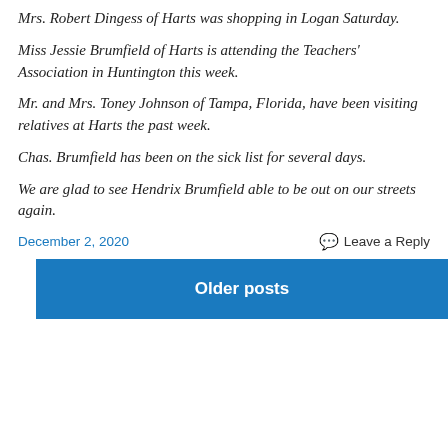Mrs. Robert Dingess of Harts was shopping in Logan Saturday.
Miss Jessie Brumfield of Harts is attending the Teachers' Association in Huntington this week.
Mr. and Mrs. Toney Johnson of Tampa, Florida, have been visiting relatives at Harts the past week.
Chas. Brumfield has been on the sick list for several days.
We are glad to see Hendrix Brumfield able to be out on our streets again.
December 2, 2020    Leave a Reply
Older posts